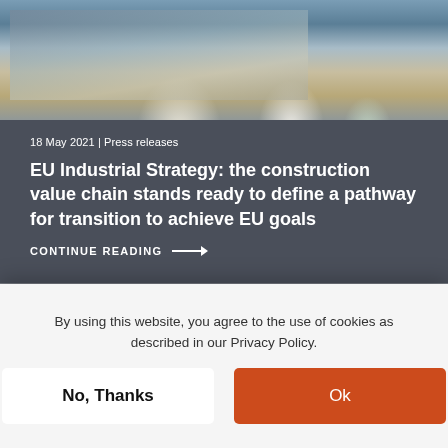[Figure (photo): Construction workers with white and blue hard hats at a building site, looking upward, with a building structure in background]
18 May 2021 | Press releases
EU Industrial Strategy: the construction value chain stands ready to define a pathway for transition to achieve EU goals
CONTINUE READING →
[Figure (photo): Partial view of next article image showing blue sky]
By using this website, you agree to the use of cookies as described in our Privacy Policy.
Ok
No, Thanks